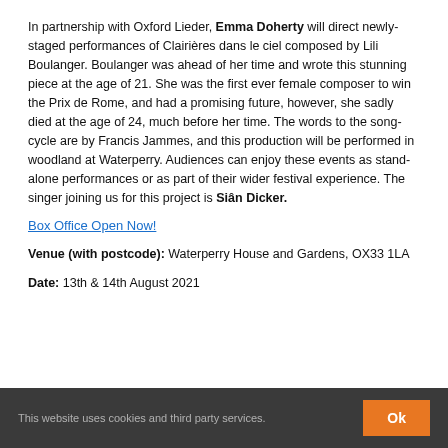In partnership with Oxford Lieder, Emma Doherty will direct newly-staged performances of Clairières dans le ciel composed by Lili Boulanger. Boulanger was ahead of her time and wrote this stunning piece at the age of 21. She was the first ever female composer to win the Prix de Rome, and had a promising future, however, she sadly died at the age of 24, much before her time. The words to the song-cycle are by Francis Jammes, and this production will be performed in woodland at Waterperry. Audiences can enjoy these events as stand-alone performances or as part of their wider festival experience. The singer joining us for this project is Siân Dicker.
Box Office Open Now!
Venue (with postcode): Waterperry House and Gardens, OX33 1LA
Date: 13th & 14th August 2021
This website uses cookies and third party services.